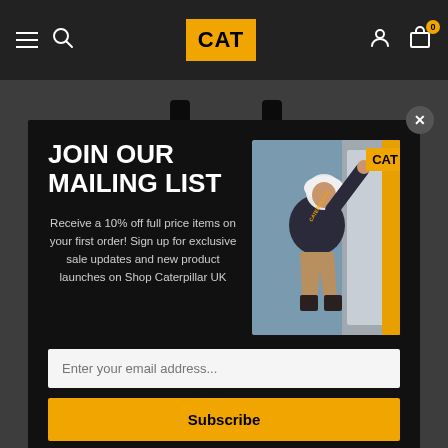[Figure (screenshot): CAT (Caterpillar) e-commerce website navigation bar with hamburger menu, search icon, CAT logo in yellow, user account icon, and shopping cart with badge showing 0]
[Figure (screenshot): Modal popup on CAT UK webstore with mailing list signup form, photo of man in Caterpillar hoodie climbing heavy equipment, email input field, and Subscribe button]
JOIN OUR MAILING LIST
Receive a 10% off full price items on your first order! Sign up for exclusive sale updates and new product launches on Shop Caterpillar UK
Enter your email address...
Subscribe